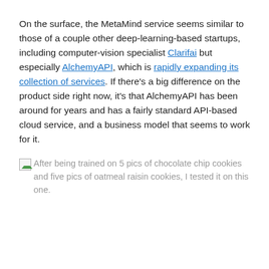On the surface, the MetaMind service seems similar to those of a couple other deep-learning-based startups, including computer-vision specialist Clarifai but especially AlchemyAPI, which is rapidly expanding its collection of services. If there's a big difference on the product side right now, it's that AlchemyAPI has been around for years and has a fairly standard API-based cloud service, and a business model that seems to work for it.
After being trained on 5 pics of chocolate chip cookies and five pics of oatmeal raisin cookies, I tested it on this one.